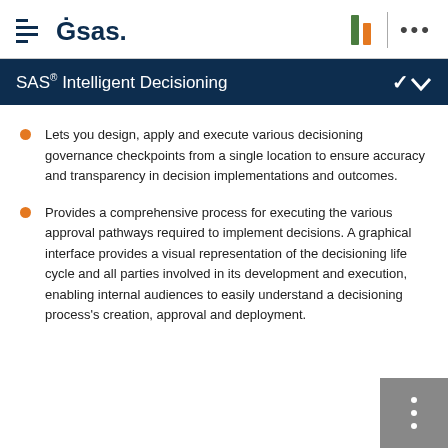SAS Intelligent Decisioning
SAS® Intelligent Decisioning
Lets you design, apply and execute various decisioning governance checkpoints from a single location to ensure accuracy and transparency in decision implementations and outcomes.
Provides a comprehensive process for executing the various approval pathways required to implement decisions. A graphical interface provides a visual representation of the decisioning life cycle and all parties involved in its development and execution, enabling internal audiences to easily understand a decisioning process's creation, approval and deployment.